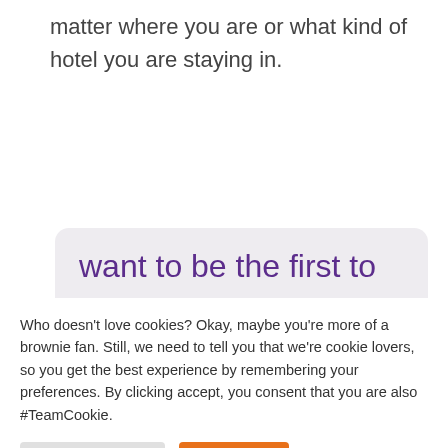matter where you are or what kind of hotel you are staying in.
want to be the first to
Who doesn't love cookies? Okay, maybe you're more of a brownie fan. Still, we need to tell you that we're cookie lovers, so you get the best experience by remembering your preferences. By clicking accept, you consent that you are also #TeamCookie.
Cookie Settings
Accept All